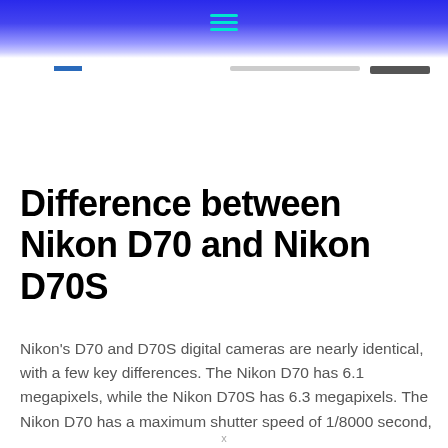[Figure (screenshot): Website header with blue gradient background and hamburger/menu icon in cyan, plus navigation bar with blue rectangle, search bar, and dark button]
Difference between Nikon D70 and Nikon D70S
Nikon's D70 and D70S digital cameras are nearly identical, with a few key differences. The Nikon D70 has 6.1 megapixels, while the Nikon D70S has 6.3 megapixels. The Nikon D70 has a maximum shutter speed of 1/8000 second,